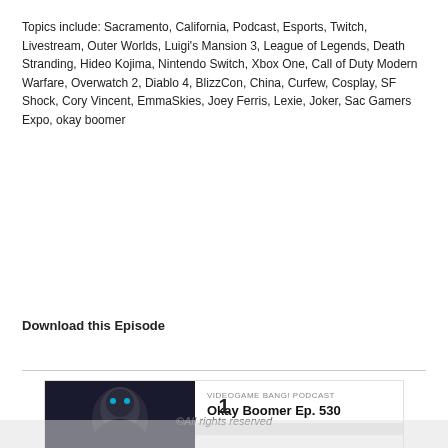Topics include: Sacramento, California, Podcast, Esports, Twitch, Livestream, Outer Worlds, Luigi's Mansion 3, League of Legends, Death Stranding, Hideo Kojima, Nintendo Switch, Xbox One, Call of Duty Modern Warfare, Overwatch 2, Diablo 4, BlizzCon, China, Curfew, Cosplay, SF Shock, Cory Vincent, EmmaSkies, Joey Ferris, Lexie, Joker, Sac Gamers Expo, okay boomer
[Figure (screenshot): Podcast audio player widget for 'Okay Boomer Ep. 530' from Videogame Bang! Podcast, showing thumbnail, play button, progress bar, time display, and playback controls.]
Download this Episode
1
©All rights reserved